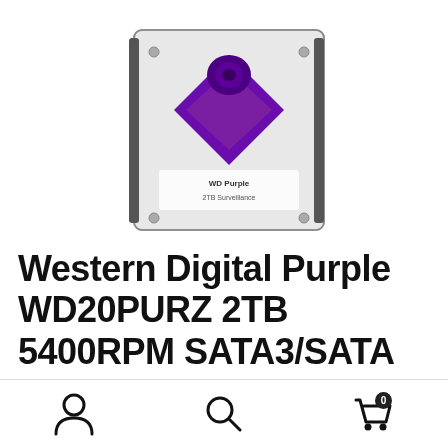[Figure (photo): Western Digital Purple hard drive product photo showing a 3.5-inch HDD with purple WD logo on top]
Western Digital Purple WD20PURZ 2TB 5400RPM SATA3/SATA 6.0 GB/s 64MB Hard Drive (3.5 inch)
[Figure (other): Bottom navigation bar with user account icon, search icon, and shopping cart icon with badge showing 0]